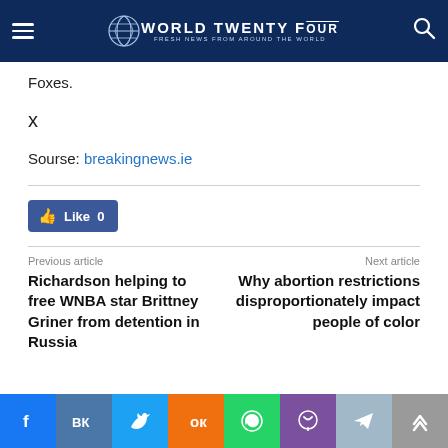World Twenty Four — Fresh News From Around The World
Foxes.
x
Sourse: breakingnews.ie
Like 0
Previous article
Next article
Richardson helping to free WNBA star Brittney Griner from detention in Russia
Why abortion restrictions disproportionately impact people of color